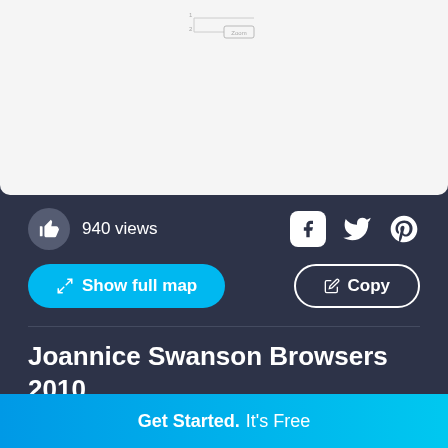[Figure (screenshot): White card/panel showing a small diagram or flowchart at top with lines and a label 'Zoom']
940 views
[Figure (other): Social media share icons: Facebook, Twitter, Pinterest]
Show full map
Copy
Joannice Swanson Browsers 2010
Business
Joannice Swanson
Follow
Get Started.  It's Free